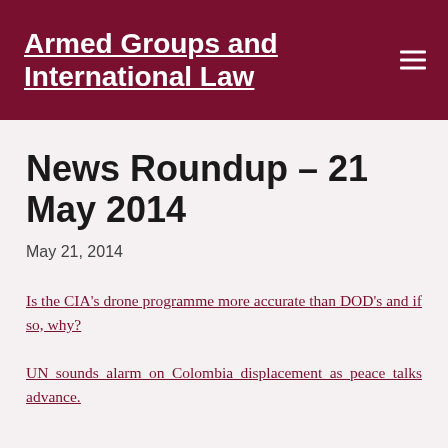Armed Groups and International Law
News Roundup – 21 May 2014
May 21, 2014
Is the CIA's drone programme more accurate than DOD's and if so, why?
UN sounds alarm on Colombia displacement as peace talks advance.